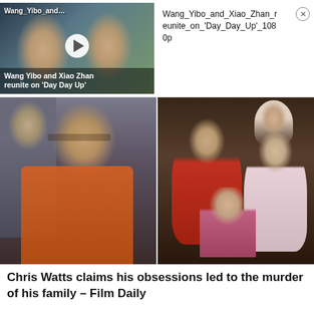[Figure (screenshot): Video thumbnail showing Wang Yibo and Xiao Zhan with play button overlay and caption 'Wang Yibo and Xiao Zhan reunite on Day Day Up']
Wang_Yibo_and_Xiao_Zhan_reunite_on_'Day_Day_Up'_1080p
[Figure (photo): Left: Chris Watts in orange jumpsuit being escorted. Right: Family photo with man in red shirt, woman, and three children.]
Chris Watts claims his obsessions led to the murder of his family – Film Daily